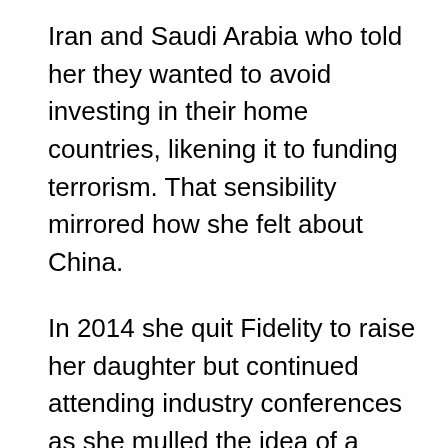Iran and Saudi Arabia who told her they wanted to avoid investing in their home countries, likening it to funding terrorism. That sensibility mirrored how she felt about China.
In 2014 she quit Fidelity to raise her daughter but continued attending industry conferences as she mulled the idea of a freedom fund. In 2016 she was invited to Cumberland Advisors’ exclusive Camp Kotok gathering of investment managers, traders and economists in Maine’s northern woods. On her way there she shared a seaplane with Rob Arnott, founder and chairman of Newport Beach, California–based Research Affiliates and an